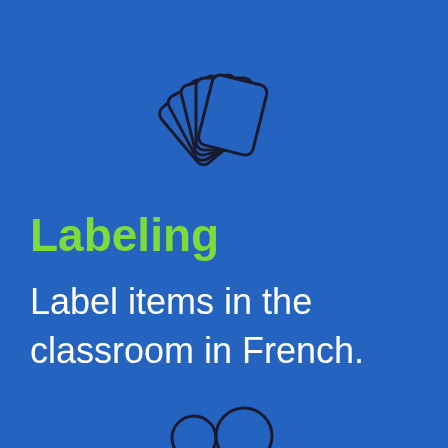[Figure (illustration): Fan of playing cards / flashcards icon drawn in dark outline on blue background, positioned at top center]
Labeling
Label items in the classroom in French.
[Figure (illustration): Partial illustration at bottom center, showing top of a figure/person icon on blue background]